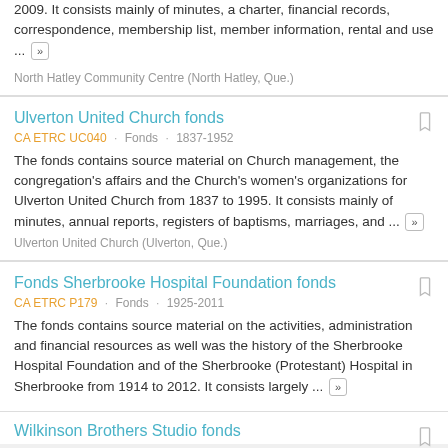2009. It consists mainly of minutes, a charter, financial records, correspondence, membership list, member information, rental and use ...
North Hatley Community Centre (North Hatley, Que.)
Ulverton United Church fonds
CA ETRC UC040 · Fonds · 1837-1952
The fonds contains source material on Church management, the congregation's affairs and the Church's women's organizations for Ulverton United Church from 1837 to 1995. It consists mainly of minutes, annual reports, registers of baptisms, marriages, and ...
Ulverton United Church (Ulverton, Que.)
Fonds Sherbrooke Hospital Foundation fonds
CA ETRC P179 · Fonds · 1925-2011
The fonds contains source material on the activities, administration and financial resources as well was the history of the Sherbrooke Hospital Foundation and of the Sherbrooke (Protestant) Hospital in Sherbrooke from 1914 to 2012. It consists largely ...
Wilkinson Brothers Studio fonds